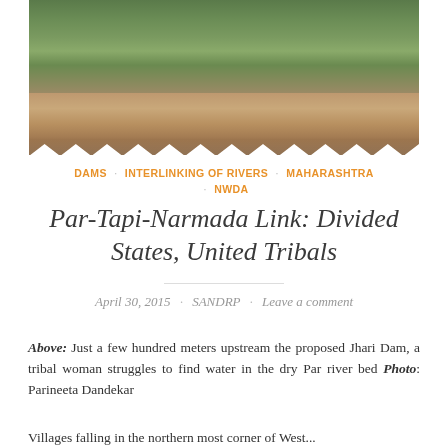[Figure (photo): Photograph of a dry river bed with scrub vegetation and trees in the background. A small figure of a tribal woman in red/yellow clothing is visible in the middle distance on the rocky, dry river bed.]
DAMS · INTERLINKING OF RIVERS · MAHARASHTRA · NWDA
Par-Tapi-Narmada Link: Divided States, United Tribals
April 30, 2015 · SANDRP · Leave a comment
Above: Just a few hundred meters upstream the proposed Jhari Dam, a tribal woman struggles to find water in the dry Par river bed Photo: Parineeta Dandekar
Villages falling in the northern most corner of West...